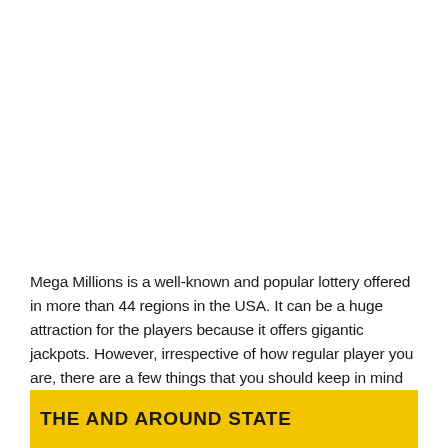Mega Millions is a well-known and popular lottery offered in more than 44 regions in the USA. It can be a huge attraction for the players because it offers gigantic jackpots. However, irrespective of how regular player you are, there are a few things that you should keep in mind before participating in the lottery.
THE AND AROUND STATE